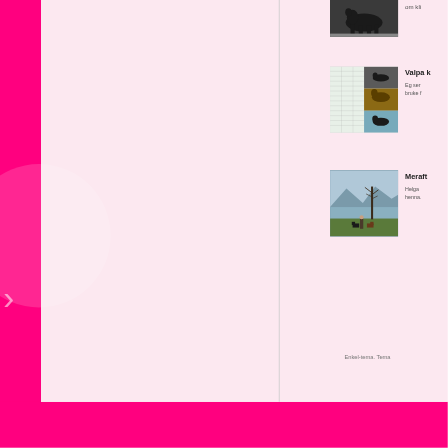[Figure (photo): Black dog standing on pavement, cropped top]
om kli
[Figure (photo): Composite of a spreadsheet/table and photos of a dog]
Valpa k
Eg ser bruke f
[Figure (photo): Person standing in a field with two black dogs and a tree, mountains and water in background]
Meraft
Helga henna.
Enkel-tema. Tema